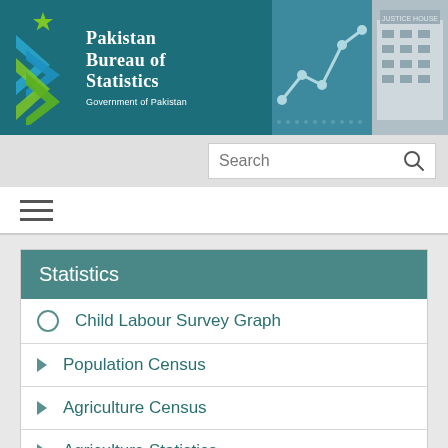[Figure (logo): Pakistan Bureau of Statistics header banner with PBS logo (double arrow chevron in blue and green), organization name 'Pakistan Bureau of Statistics Government of Pakistan', line graph graphic, and building photo on teal/dark background]
Search
[Figure (other): Hamburger menu icon (three horizontal lines)]
Statistics
Child Labour Survey Graph
Population Census
Agriculture Census
Agriculture Statistics
Business Register
Demographic and Research
Energy & Mining Statistics